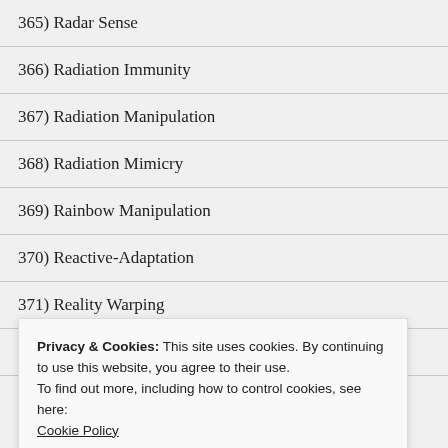365) Radar Sense
366) Radiation Immunity
367) Radiation Manipulation
368) Radiation Mimicry
369) Rainbow Manipulation
370) Reactive-Adaptation
371) Reality Warping
372) Regeneration
373) Reincarnation (others)
Privacy & Cookies: This site uses cookies. By continuing to use this website, you agree to their use.
To find out more, including how to control cookies, see here:
Cookie Policy